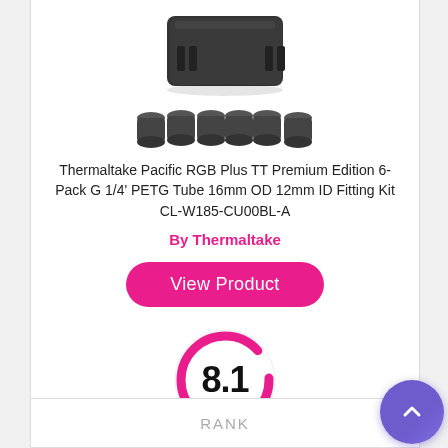[Figure (photo): Product photo of Thermaltake Pacific RGB Plus fittings kit — a dark rectangular box device on top and six cylindrical fittings below]
Thermaltake Pacific RGB Plus TT Premium Edition 6-Pack G 1/4' PETG Tube 16mm OD 12mm ID Fitting Kit CL-W185-CU00BL-A
By Thermaltake
View Product
[Figure (infographic): Score circle showing 8.1 with pink ring border]
Score
RANK